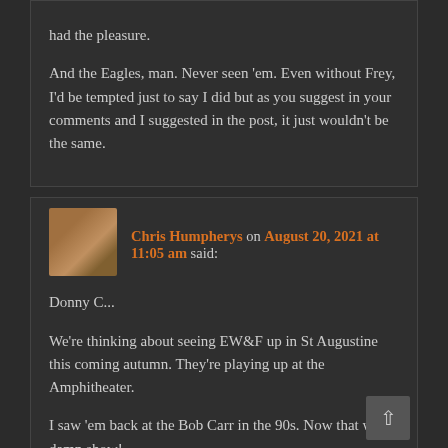had the pleasure.

And the Eagles, man. Never seen 'em. Even without Frey, I'd be tempted just to say I did but as you suggest in your comments and I suggested in the post, it just wouldn't be the same.
Chris Humpherys on August 20, 2021 at 11:05 am said:
Donny C...

We're thinking about seeing EW&F up in St Augustine this coming autumn. They're playing up at the Amphitheater.

I saw 'em back at the Bob Carr in the 90s. Now that was a damn show!